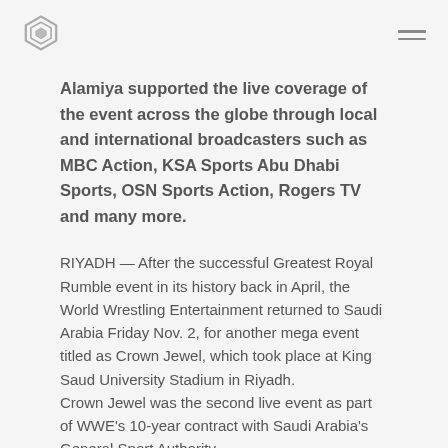Alamiya supported the live coverage of the event across the globe through local and international broadcasters such as MBC Action, KSA Sports Abu Dhabi Sports, OSN Sports Action, Rogers TV and many more.
RIYADH — After the successful Greatest Royal Rumble event in its history back in April, the World Wrestling Entertainment returned to Saudi Arabia Friday Nov. 2, for another mega event titled as Crown Jewel, which took place at King Saud University Stadium in Riyadh.
Crown Jewel was the second live event as part of WWE's 10-year contract with Saudi Arabia's General Sport Authority.
The event hosted the first-ever WWE World